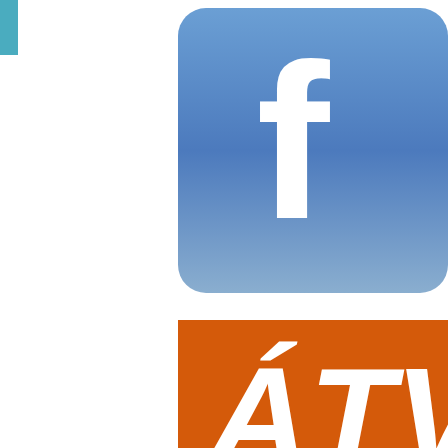[Figure (logo): Teal/blue vertical bar on the far left edge of the page]
[Figure (logo): Facebook logo icon - rounded square with blue gradient background and white 'f' letterform, partially cropped on the right]
[Figure (logo): ATV logo - orange/red rectangle with white bold italic text 'ÁTV', partially cropped on the right]
[Figure (logo): ÁIR logo - rounded rectangle with pink-to-magenta gradient background and white bold text 'ÁIR' or similar, partially cropped on the right]
[Figure (logo): Partial pink/magenta rounded rectangle logo visible at bottom right, partially cropped]